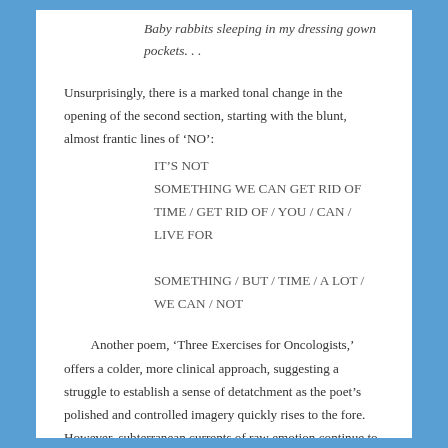Baby rabbits sleeping in my dressing gown
pockets. . .
Unsurprisingly, there is a marked tonal change in the opening of the second section, starting with the blunt, almost frantic lines of ‘NO’:
IT’S NOT
SOMETHING WE CAN GET RID OF
TIME / GET RID OF / YOU / CAN / LIVE FOR

SOMETHING / BUT / TIME / A LOT / WE CAN / NOT
Another poem, ‘Three Exercises for Oncologists,’ offers a colder, more clinical approach, suggesting a struggle to establish a sense of detatchment as the poet’s polished and controlled imagery quickly rises to the fore. However, subterranean currents of raw emotion continue to swirl, and ‘Keep Moving’, a dream-like narrative that seems like an episode from a newly risen mythology, is